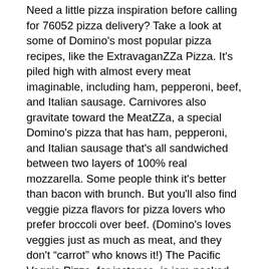Need a little pizza inspiration before calling for 76052 pizza delivery? Take a look at some of Domino's most popular pizza recipes, like the ExtravaganZZa Pizza. It's piled high with almost every meat imaginable, including ham, pepperoni, beef, and Italian sausage. Carnivores also gravitate toward the MeatZZa, a special Domino's pizza that has ham, pepperoni, and Italian sausage that's all sandwiched between two layers of 100% real mozzarella. Some people think it's better than bacon with brunch. But you'll also find veggie pizza flavors for pizza lovers who prefer broccoli over beef. (Domino's loves veggies just as much as meat, and they don't “carrot” who knows it!) The Pacific Veggie Pizza, for instance, is jam-packed with onions, roasted red peppers, fresh baby spinach, mushrooms, tomatoes, and black olives.
And if you prefer to DIY your pie, Domino's can help there, too. There are more than 34 million different ways to make a Domino's pizza and Domino's Pizza Builder puts the power of pizza in your hands! Get started on your made-to-order pizza by selecting your favorite crust: thin and crunchy or pillowy and Brooklyn Style, hand-tossed with zesty garlic seasoning. Next, select a cheese and a yummy marinara sauce, BBQ sauce, robust tomato sauce,